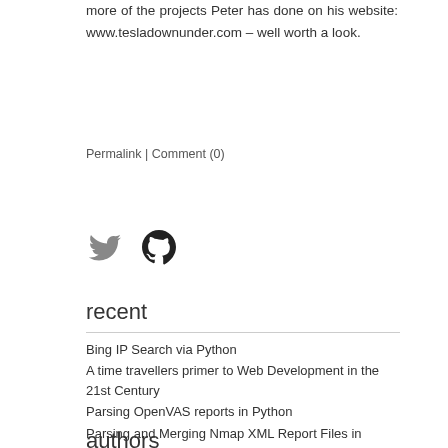more of the projects Peter has done on his website: www.tesladownunder.com – well worth a look.
Permalink | Comment (0)
[Figure (illustration): Twitter bird icon and GitHub Octocat icon in grey/dark]
recent
Bing IP Search via Python
A time travellers primer to Web Development in the 21st Century
Parsing OpenVAS reports in Python
Parsing and Merging Nmap XML Report Files in Python
Posting domain mapped permalinks via the wp-to-twitter plugin
authors